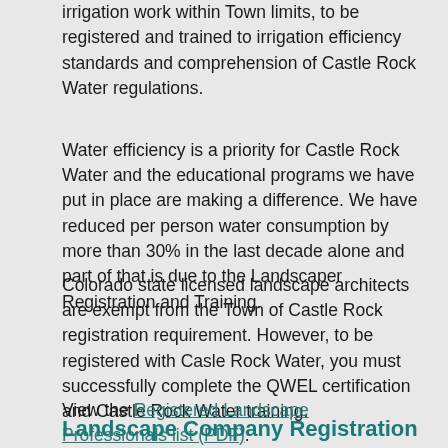irrigation work within Town limits, to be registered and trained to irrigation efficiency standards and comprehension of Castle Rock Water regulations.
Water efficiency is a priority for Castle Rock Water and the educational programs we have put in place are making a difference. We have reduced per person water consumption by more than 30% in the last decade alone and part of that is due to the Landscaper Registration and Training.
Colorado state licensed landscape architects are exempt from the Town of Castle Rock registration requirement. However, to be registered with Casle Rock Water, you must successfully complete the QWEL certification and Castle Rock Water training.
View the Registered Landscape Professionals list (PDF).
Landscape Company Registration
Castle Rock Water requires landscape companies to be